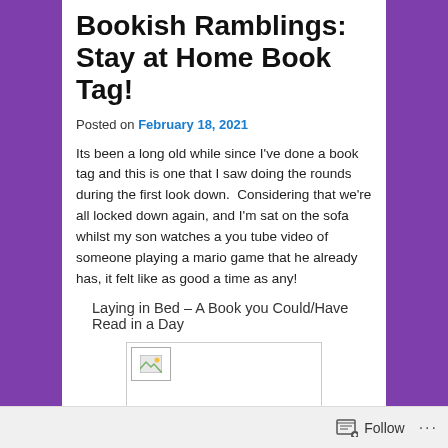Bookish Ramblings: Stay at Home Book Tag!
Posted on February 18, 2021
Its been a long old while since I've done a book tag and this is one that I saw doing the rounds during the first look down.  Considering that we're all locked down again, and I'm sat on the sofa whilst my son watches a you tube video of someone playing a mario game that he already has, it felt like as good a time as any!
Laying in Bed – A Book you Could/Have Read in a Day
[Figure (photo): Broken/missing image placeholder with a small landscape thumbnail icon in top-left corner]